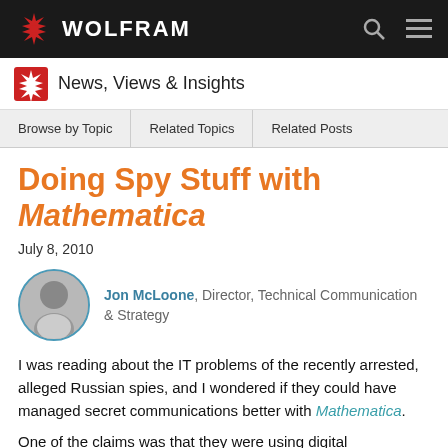WOLFRAM
News, Views & Insights
Browse by Topic | Related Topics | Related Posts
Doing Spy Stuff with Mathematica
July 8, 2010
Jon McLoone, Director, Technical Communication & Strategy
I was reading about the IT problems of the recently arrested, alleged Russian spies, and I wondered if they could have managed secret communications better with Mathematica.
One of the claims was that they were using digital